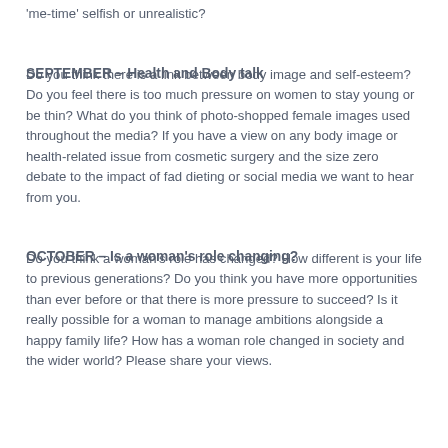'me-time' selfish or unrealistic?
SEPTEMBER – Health and Body talk
Do you think there is a link between body image and self-esteem? Do you feel there is too much pressure on women to stay young or be thin? What do you think of photo-shopped female images used throughout the media? If you have a view on any body image or health-related issue from cosmetic surgery and the size zero debate to the impact of fad dieting or social media we want to hear from you.
OCTOBER – Is a woman's role changing?
Do you think a woman's role has changed? How different is your life to previous generations? Do you think you have more opportunities than ever before or that there is more pressure to succeed? Is it really possible for a woman to manage ambitions alongside a happy family life? How has a woman role changed in society and the wider world? Please share your views.